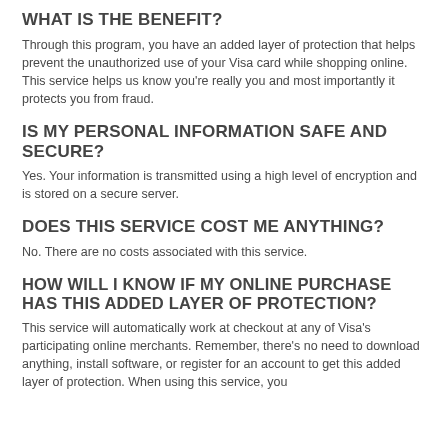WHAT IS THE BENEFIT?
Through this program, you have an added layer of protection that helps prevent the unauthorized use of your Visa card while shopping online. This service helps us know you're really you and most importantly it protects you from fraud.
IS MY PERSONAL INFORMATION SAFE AND SECURE?
Yes. Your information is transmitted using a high level of encryption and is stored on a secure server.
DOES THIS SERVICE COST ME ANYTHING?
No. There are no costs associated with this service.
HOW WILL I KNOW IF MY ONLINE PURCHASE HAS THIS ADDED LAYER OF PROTECTION?
This service will automatically work at checkout at any of Visa's participating online merchants. Remember, there's no need to download anything, install software, or register for an account to get this added layer of protection. When using this service, you